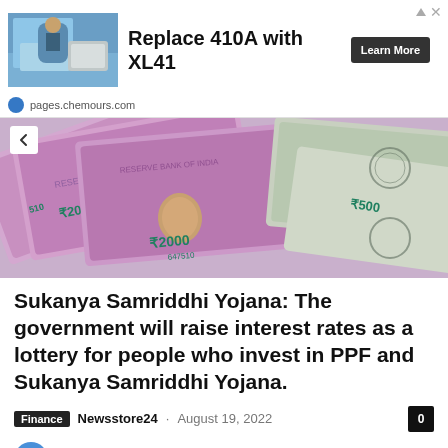[Figure (other): Advertisement banner: image of a person working on HVAC equipment, text 'Replace 410A with XL41', 'Learn More' button, and URL pages.chemours.com]
[Figure (photo): Photo of Indian currency notes — Reserve Bank of India 2000 rupee and 500 rupee banknotes spread out, showing Gandhi portrait and denomination text]
Sukanya Samriddhi Yojana: The government will raise interest rates as a lottery for people who invest in PPF and Sukanya Samriddhi Yojana.
Finance · Newsstore24 · August 19, 2022
Samriddhi Yojana for Sukanya Update: There is excellent news for